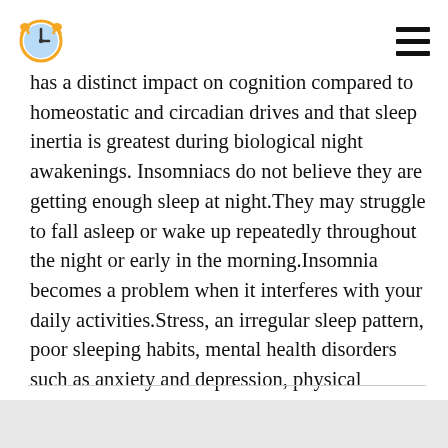[clock icon] [hamburger menu]
has a distinct impact on cognition compared to homeostatic and circadian drives and that sleep inertia is greatest during biological night awakenings. Insomniacs do not believe they are getting enough sleep at night.They may struggle to fall asleep or wake up repeatedly throughout the night or early in the morning.Insomnia becomes a problem when it interferes with your daily activities.Stress, an irregular sleep pattern, poor sleeping habits, mental health disorders such as anxiety and depression, physical ailments and pain, drugs, neurological abnormalities, and specialized sleep disorders are all common causes of insomnia.